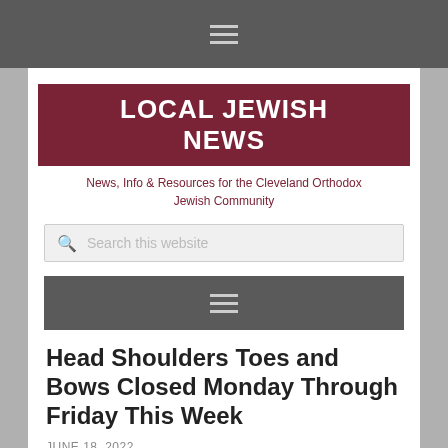≡
[Figure (logo): LOCAL JEWISH NEWS logo banner in dark red/maroon background with white bold uppercase text]
News, Info & Resources for the Cleveland Orthodox Jewish Community
Search this website
≡
Head Shoulders Toes and Bows Closed Monday Through Friday This Week
JUNE 18, 2022